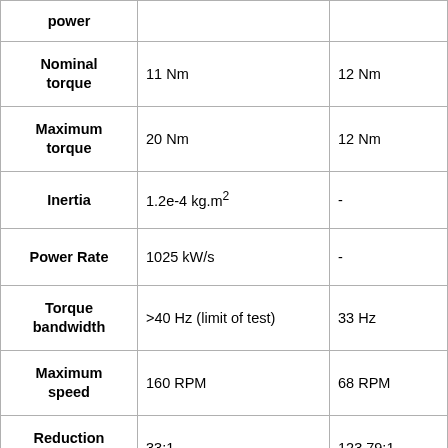| Parameter | Value 1 | Value 2 |
| --- | --- | --- |
| power |  |  |
| Nominal torque | 11 Nm | 12 Nm |
| Maximum torque | 20 Nm | 12 Nm |
| Inertia | 1.2e-4 kg.m² | - |
| Power Rate | 1025 kW/s | - |
| Torque bandwidth | >40 Hz (limit of test) | 33 Hz |
| Maximum speed | 160 RPM | 68 RPM |
| Reduction ratio | 33:1 | 123.79:1 |
| Dimensions ratio | 90 dia X 137 mm | 83 dia X 145 mm |
| Weight | 2.4 kg | 1.65 kg |